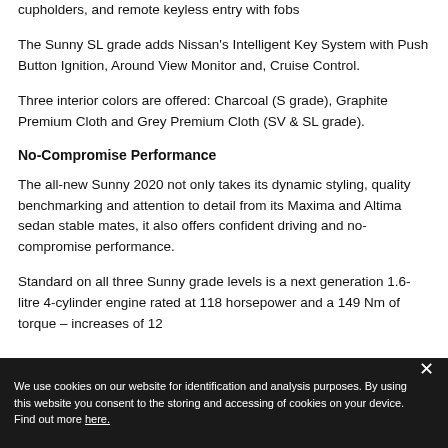cupholders, and remote keyless entry with fobs
The Sunny SL grade adds Nissan's Intelligent Key System with Push Button Ignition, Around View Monitor and, Cruise Control.
Three interior colors are offered: Charcoal (S grade), Graphite Premium Cloth and Grey Premium Cloth (SV & SL grade).
No-Compromise Performance
The all-new Sunny 2020 not only takes its dynamic styling, quality benchmarking and attention to detail from its Maxima and Altima sedan stable mates, it also offers confident driving and no-compromise performance.
Standard on all three Sunny grade levels is a next generation 1.6-litre 4-cylinder engine rated at 118 horsepower and a 149 Nm of torque – increases of 12
We use cookies on our website for identification and analysis purposes. By using this website you consent to the storing and accessing of cookies on your device. Find out more here.